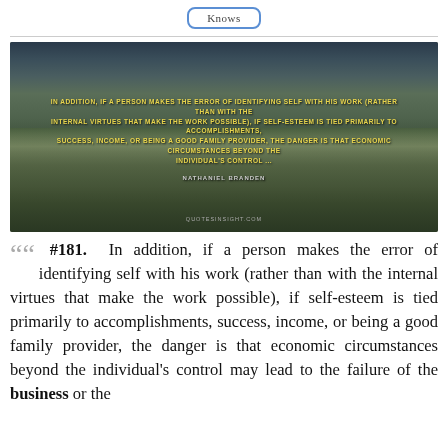Knows
[Figure (photo): Landscape photo with dark hills and sky, overlaid with a yellow uppercase quote text: 'In addition, if a person makes the error of identifying self with his work (rather than with the internal virtues that make the work possible), if self-esteem is tied primarily to accomplishments, success, income, or being a good family provider, the danger is that economic circumstances beyond the individual's control ...' attributed to Nathaniel Branden. Watermark: quotesinsight.com]
““ #181. In addition, if a person makes the error of identifying self with his work (rather than with the internal virtues that make the work possible), if self-esteem is tied primarily to accomplishments, success, income, or being a good family provider, the danger is that economic circumstances beyond the individual's control may lead to the failure of the business or the